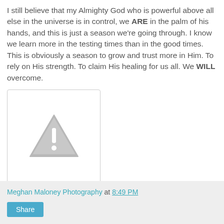I still believe that my Almighty God who is powerful above all else in the universe is in control, we ARE in the palm of his hands, and this is just a season we're going through. I know we learn more in the testing times than in the good times. This is obviously a season to grow and trust more in Him. To rely on His strength. To claim His healing for us all. We WILL overcome.
[Figure (illustration): A greyed-out warning/caution triangle icon with an exclamation mark, indicating a missing or unavailable image placeholder.]
Meghan Maloney Photography at 8:49 PM
Share